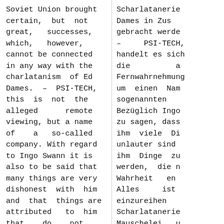Soviet Union brought certain, but not great, successes, which, however, cannot be connected in any way with the charlatanism of Ed Dames. – PSI-TECH, this is not the alleged remote viewing, but a name of a so-called company. With regard to Ingo Swann it is also to be said that many things are very dishonest with him and that things are attributed to him that do not
Scharlatanerie Dames in Zus gebracht werde – PSI-TECH, handelt es sich die a Fernwahrnehmung um einen Nam sogenannten Bezüglich Ingo zu sagen, dass ihm viele Di unlauter sind ihm Dinge zu werden, die n Wahrheit en Alles ist einzureihen Scharlatanerie Mauschelei, u